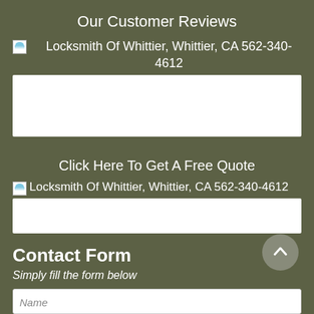Our Customer Reviews
[Figure (other): Broken image placeholder with alt text: Locksmith Of Whittier, Whittier, CA 562-340-4612]
[Figure (other): White box (embedded widget/content area)]
Click Here To Get A Free Quote
[Figure (other): Broken image placeholder with alt text: Locksmith Of Whittier, Whittier, CA 562-340-4612]
[Figure (other): White box (embedded widget/content area)]
Contact Form
Simply fill the form below
Name